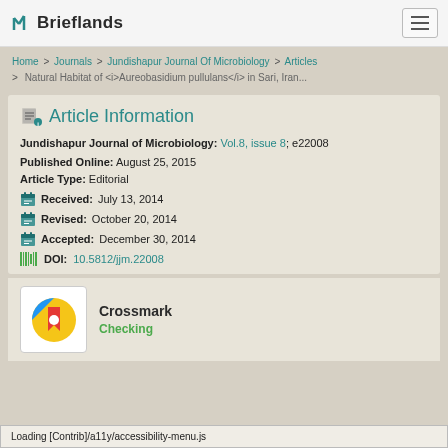Brieflands
Home > Journals > Jundishapur Journal Of Microbiology > Articles > Natural Habitat of <i>Aureobasidium pullulans</i> in Sari, Iran...
Article Information
Jundishapur Journal of Microbiology: Vol.8, issue 8; e22008
Published Online: August 25, 2015
Article Type: Editorial
Received: July 13, 2014
Revised: October 20, 2014
Accepted: December 30, 2014
DOI: 10.5812/jjm.22008
[Figure (logo): Crossmark logo with circular design in blue, yellow, and red]
Crossmark
Checking
Loading [Contrib]/a11y/accessibility-menu.js